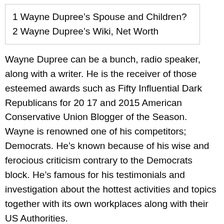1 Wayne Dupree's Spouse and Children?
2 Wayne Dupree's Wiki, Net Worth
Wayne Dupree can be a bunch, radio speaker, along with a writer. He is the receiver of those esteemed awards such as Fifty Influential Dark Republicans for 20 17 and 2015 American Conservative Union Blogger of the Season. Wayne is renowned one of his competitors; Democrats. He's known because of his wise and ferocious criticism contrary to the Democrats block. He's famous for his testimonials and investigation about the hottest activities and topics together with its own workplaces along with their US Authorities.
https://www.youtube.com/channel/UC53Ol_8Fl